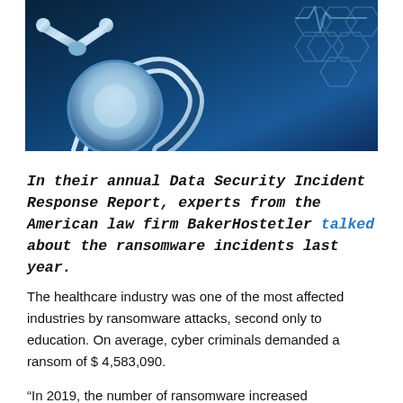[Figure (photo): Close-up of a stethoscope on a dark blue background with medical/technology hexagon and heartbeat line graphics overlay]
In their annual Data Security Incident Response Report, experts from the American law firm BakerHostetler talked about the ransomware incidents last year.
The healthcare industry was one of the most affected industries by ransomware attacks, second only to education. On average, cyber criminals demanded a ransom of $ 4,583,090.
“In 2019, the number of ransomware increased